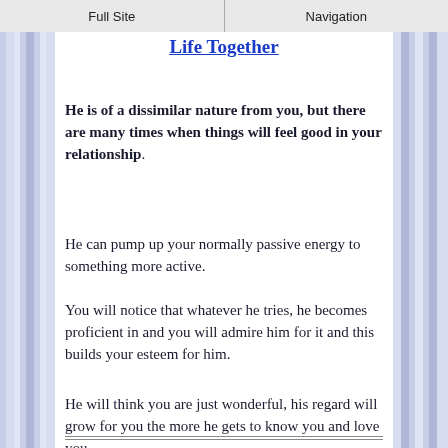Full Site | Navigation
Life Together
He is of a dissimilar nature from you, but there are many times when things will feel good in your relationship.
He can pump up your normally passive energy to something more active.
You will notice that whatever he tries, he becomes proficient in and you will admire him for it and this builds your esteem for him.
He will think you are just wonderful, his regard will grow for you the more he gets to know you and love you.